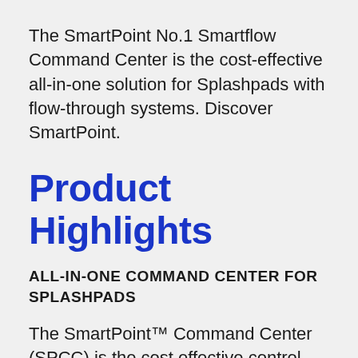The SmartPoint No.1 Smartflow Command Center is the cost-effective all-in-one solution for Splashpads with flow-through systems. Discover SmartPoint.
Product Highlights
ALL-IN-ONE COMMAND CENTER FOR SPLASHPADS
The SmartPoint™ Command Center (SPCC) is the cost effective control solution for Splashpads with flow-